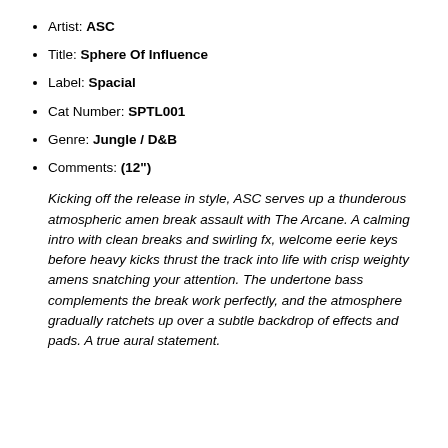Artist: ASC
Title: Sphere Of Influence
Label: Spacial
Cat Number: SPTL001
Genre: Jungle / D&B
Comments: (12")
Kicking off the release in style, ASC serves up a thunderous atmospheric amen break assault with The Arcane. A calming intro with clean breaks and swirling fx, welcome eerie keys before heavy kicks thrust the track into life with crisp weighty amens snatching your attention. The undertone bass complements the break work perfectly, and the atmosphere gradually ratchets up over a subtle backdrop of effects and pads. A true aural statement.